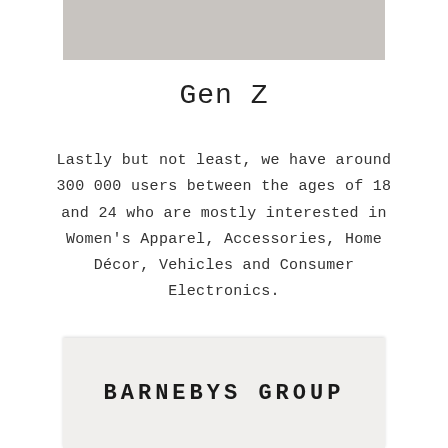[Figure (photo): Partial photo image at top of page, grey/neutral tones]
Gen Z
Lastly but not least, we have around 300 000 users between the ages of 18 and 24 who are mostly interested in Women's Apparel, Accessories, Home Décor, Vehicles and Consumer Electronics.
BARNEBYS GROUP